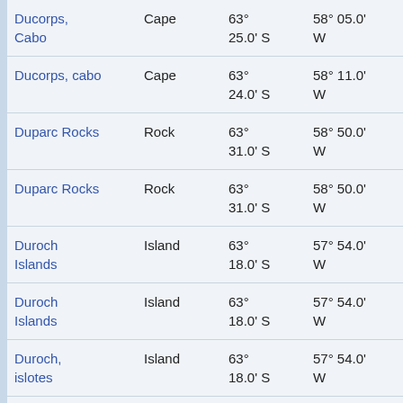| Name | Type | Latitude | Longitude | Elevation |
| --- | --- | --- | --- | --- |
| Ducorps, Cabo | Cape | 63° 25.0' S | 58° 05.0' W | 33.7 at 5… |
| Ducorps, cabo | Cape | 63° 24.0' S | 58° 11.0' W | 30.9 at 49… |
| Duparc Rocks | Rock | 63° 31.0' S | 58° 50.0' W | 11.7 at 30… |
| Duparc Rocks | Rock | 63° 31.0' S | 58° 50.0' W | 11.7 at 30… |
| Duroch Islands | Island | 63° 18.0' S | 57° 54.0' W | 48.8 at 50… |
| Duroch Islands | Island | 63° 18.0' S | 57° 54.0' W | 48.8 at 50… |
| Duroch, islotes | Island | 63° 18.0' S | 57° 54.0' W | 48.8 at 50… |
| Duroch, Roca | Island | 63° 19.0' S | 57° 53.0' W | 48.3 at 52… |